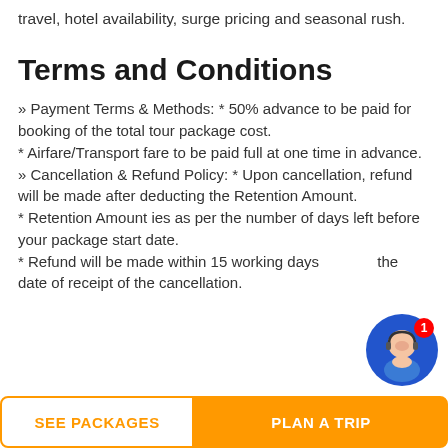travel, hotel availability, surge pricing and seasonal rush.
Terms and Conditions
» Payment Terms & Methods: * 50% advance to be paid for booking of the total tour package cost.
* Airfare/Transport fare to be paid full at one time in advance.
» Cancellation & Refund Policy: * Upon cancellation, refund will be made after deducting the Retention Amount.
* Retention Amount ies as per the number of days left before your package start date.
* Refund will be made within 15 working days the date of receipt of the cancellation.
[Figure (illustration): Chat support avatar bubble with notification badge showing 1]
SEE PACKAGES
PLAN A TRIP